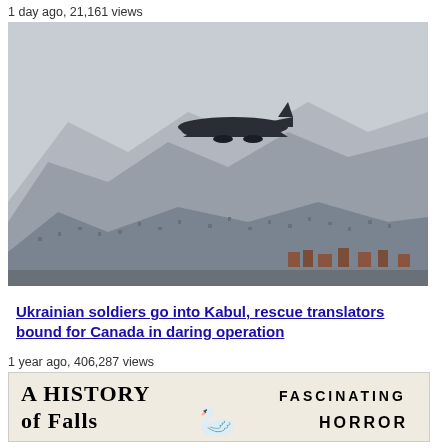1 day ago, 21,161 views
[Figure (photo): Military transport aircraft flying over mountainous terrain with city/settlements visible on hillsides in hazy conditions]
Ukrainian soldiers go into Kabul, rescue translators bound for Canada in daring operation
1 year ago, 406,287 views
[Figure (photo): Book cover showing 'A History of Falls' on the left and 'Fascinating Horror' on the right]